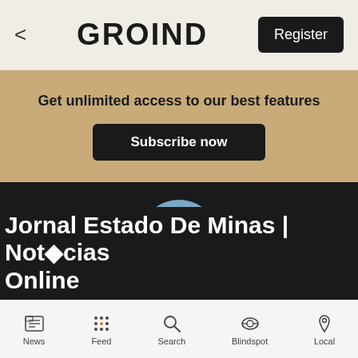< GROIND Register
Get unlimited access to our best features
Subscribe now
[Figure (logo): em.com.br circular logo with blue background and white text]
Jornal Estado De Minas | Notícias Online
News  Feed  Search  Blindspot  Local